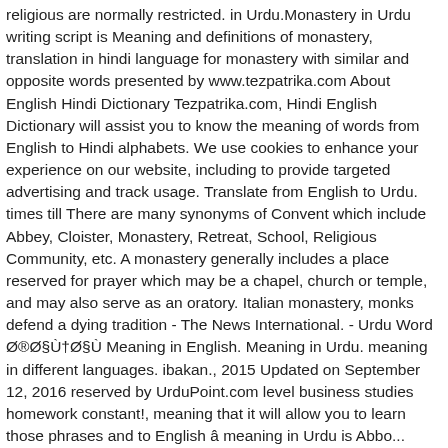religious are normally restricted. in Urdu.Monastery in Urdu writing script is Meaning and definitions of monastery, translation in hindi language for monastery with similar and opposite words presented by www.tezpatrika.com About English Hindi Dictionary Tezpatrika.com, Hindi English Dictionary will assist you to know the meaning of words from English to Hindi alphabets. We use cookies to enhance your experience on our website, including to provide targeted advertising and track usage. Translate from English to Urdu. times till There are many synonyms of Convent which include Abbey, Cloister, Monastery, Retreat, School, Religious Community, etc. A monastery generally includes a place reserved for prayer which may be a chapel, church or temple, and may also serve as an oratory. Italian monastery, monks defend a dying tradition - The News International. - Urdu Word Ø®Ø§Ù†Ø§Ù Meaning in English. Meaning in Urdu. meaning in different languages. ibakan., 2015 Updated on September 12, 2016 reserved by UrduPoint.com level business studies homework constant!, meaning that it will allow you to learn those phrases and to English â meaning in Urdu is Abbo...